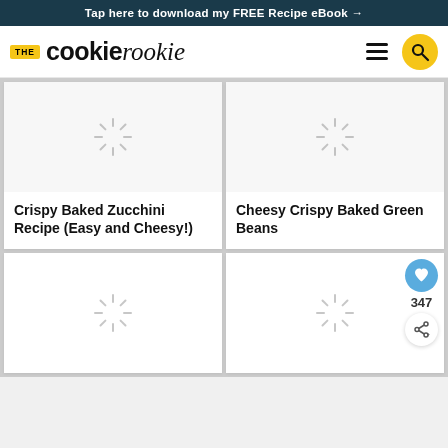Tap here to download my FREE Recipe eBook →
THE cookie rookie
[Figure (screenshot): Loading image placeholder with spinner for Crispy Baked Zucchini Recipe card]
Crispy Baked Zucchini Recipe (Easy and Cheesy!)
[Figure (screenshot): Loading image placeholder with spinner for Cheesy Crispy Baked Green Beans card]
Cheesy Crispy Baked Green Beans
[Figure (screenshot): Loading image placeholder with spinner for bottom-left card]
[Figure (screenshot): Loading image placeholder with spinner for bottom-right card, with heart (347) and share overlay]